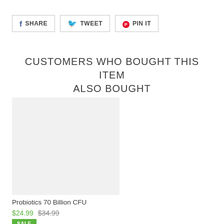SHARE  TWEET  PIN IT
CUSTOMERS WHO BOUGHT THIS ITEM ALSO BOUGHT
[Figure (photo): Product image placeholder - light grey rectangle for Probiotics 70 Billion CFU product]
Probiotics 70 Billion CFU
$24.99  $34.99
SALE